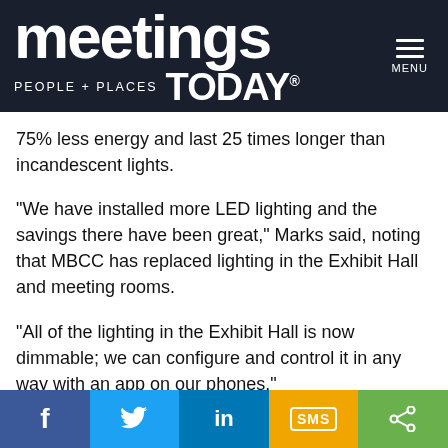meetings PEOPLE + PLACES TODAY®
75% less energy and last 25 times longer than incandescent lights.
“We have installed more LED lighting and the savings there have been great,” Marks said, noting that MBCC has replaced lighting in the Exhibit Hall and meeting rooms.
“All of the lighting in the Exhibit Hall is now dimmable; we can configure and control it in any way with an app on our phones.”
Marks also added that sensors have been added to the
f | Twitter | in | SMS | share